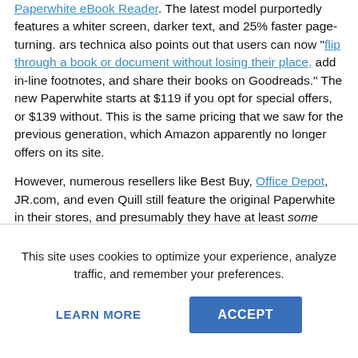Paperwhite eBook Reader. The latest model purportedly features a whiter screen, darker text, and 25% faster page-turning. ars technica also points out that users can now "flip through a book or document without losing their place, add in-line footnotes, and share their books on Goodreads." The new Paperwhite starts at $119 if you opt for special offers, or $139 without. This is the same pricing that we saw for the previous generation, which Amazon apparently no longer offers on its site.
However, numerous resellers like Best Buy, Office Depot, JR.com, and even Quill still feature the original Paperwhite in their stores, and presumably they have at least some stock left over in their inventory. (Interestingly, Staples has removed it since yesterday.) If these stores do indeed still have stock left, then this situation puts them in that familiar dilemma that retailers regularly face with product cycles; because there's an improved version available at the same starting price, resellers must discount the older generation at a lower cost, in order to clear it out.
This site uses cookies to optimize your experience, analyze traffic, and remember your preferences.